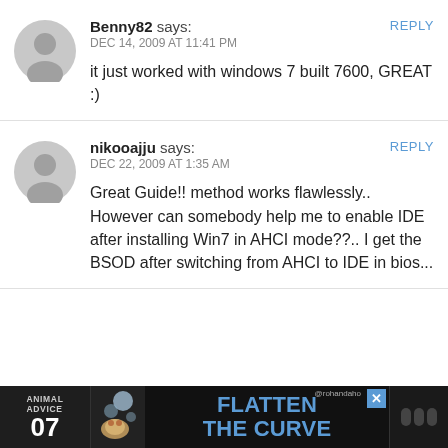Benny82 says: DEC 14, 2009 AT 11:41 PM — it just worked with windows 7 built 7600, GREAT :)
nikooajju says: DEC 22, 2009 AT 1:35 AM — Great Guide!! method works flawlessly.. However can somebody help me to enable IDE after installing Win7 in AHCI mode??.. I get the BSOD after switching from AHCI to IDE in bios...
[Figure (infographic): Advertisement banner: Animal Advice 07, Flatten the Curve, with decorative graphics and close button]